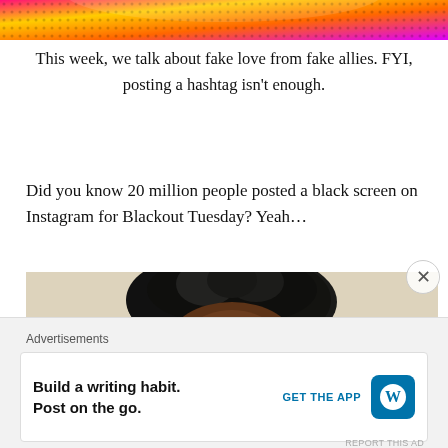[Figure (photo): Partial top of a colorful graphic/podcast thumbnail with bright pink, yellow, and orange colors with dotted pattern]
This week, we talk about fake love from fake allies. FYI, posting a hashtag isn't enough.
Did you know 20 million people posted a black screen on Instagram for Blackout Tuesday? Yeah...
[Figure (photo): Video thumbnail showing a person of color with natural hair, hand near face, appearing skeptical or amused, sitting in front of a beige/tan wall]
Advertisements
[Figure (infographic): Advertisement banner: Build a writing habit. Post on the go. GET THE APP with WordPress logo]